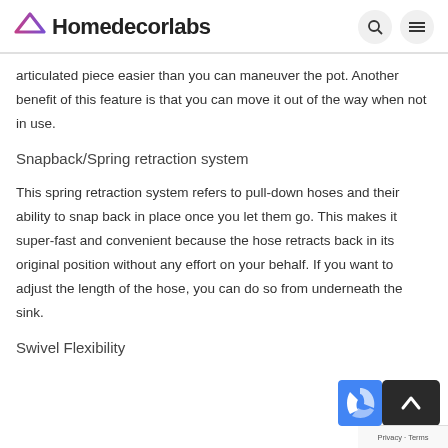Homedecorlabs
articulated piece easier than you can maneuver the pot. Another benefit of this feature is that you can move it out of the way when not in use.
Snapback/Spring retraction system
This spring retraction system refers to pull-down hoses and their ability to snap back in place once you let them go. This makes it super-fast and convenient because the hose retracts back in its original position without any effort on your behalf. If you want to adjust the length of the hose, you can do so from underneath the sink.
Swivel Flexibility